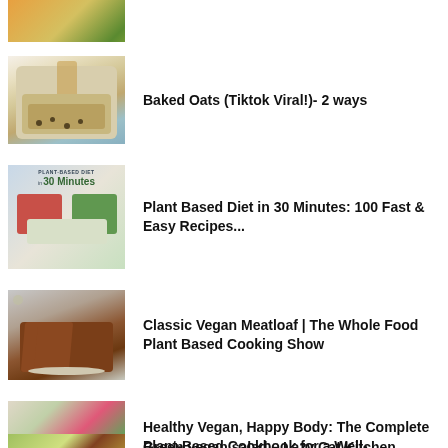[Figure (photo): Partial image of a food dish at top of page, cropped]
Baked Oats (Tiktok Viral!)- 2 ways
Plant Based Diet in 30 Minutes: 100 Fast & Easy Recipes...
Classic Vegan Meatloaf | The Whole Food Plant Based Cooking Show
Healthy Vegan, Happy Body: The Complete Plant-Based Cookbook for a Well-Nourished...
Green vegan salad – Lazy Cat Kitchen